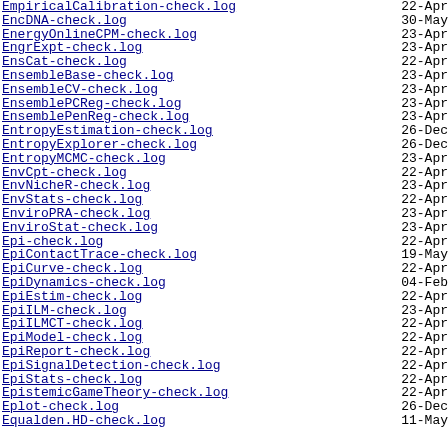EmpiricalCalibration-check.log   22-Apr
EncDNA-check.log   30-May
EnergyOnlineCPM-check.log   23-Apr
EngrExpt-check.log   23-Apr
EnsCat-check.log   22-Apr
EnsembleBase-check.log   23-Apr
EnsembleCV-check.log   23-Apr
EnsemblePCReg-check.log   23-Apr
EnsemblePenReg-check.log   23-Apr
EntropyEstimation-check.log   26-Dec
EntropyExplorer-check.log   26-Dec
EntropyMCMC-check.log   23-Apr
EnvCpt-check.log   22-Apr
EnvNicheR-check.log   23-Apr
EnvStats-check.log   22-Apr
EnviroPRA-check.log   23-Apr
EnviroStat-check.log   23-Apr
Epi-check.log   22-Apr
EpiContactTrace-check.log   19-May
EpiCurve-check.log   22-Apr
EpiDynamics-check.log   04-Feb
EpiEstim-check.log   22-Apr
EpiILM-check.log   23-Apr
EpiILMCT-check.log   22-Apr
EpiModel-check.log   22-Apr
EpiReport-check.log   22-Apr
EpiSignalDetection-check.log   22-Apr
EpiStats-check.log   22-Apr
EpistemicGameTheory-check.log   22-Apr
Eplot-check.log   26-Dec
Equalden.HD-check.log   11-May